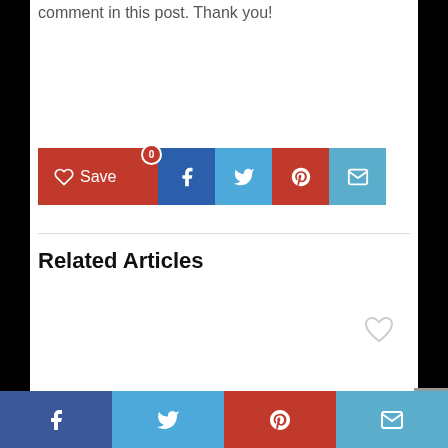comment in this post. Thank you!
[Figure (screenshot): Social share buttons: Save (red with heart), Facebook (blue), Twitter (light blue), Pinterest (red), Email (teal)]
Related Articles
[Figure (screenshot): Gray outline heart icon on right side]
[Figure (screenshot): Bottom social share bar: Facebook, Twitter, Pinterest, Email icons]
[Figure (screenshot): Scroll to top arrow button (gray, right side)]